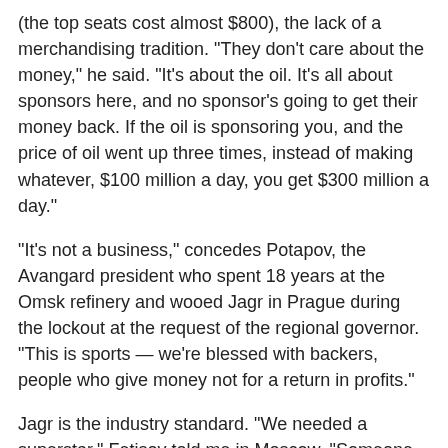(the top seats cost almost $800), the lack of a merchandising tradition. "They don't care about the money," he said. "It's about the oil. It's all about sponsors here, and no sponsor's going to get their money back. If the oil is sponsoring you, and the price of oil went up three times, instead of making whatever, $100 million a day, you get $300 million a day."
"It's not a business," concedes Potapov, the Avangard president who spent 18 years at the Omsk refinery and wooed Jagr in Prague during the lockout at the request of the regional governor. "This is sports — we're blessed with backers, people who give money not for a return in profits."
Jagr is the industry standard. "We needed a superstar," Fetisov told me in Moscow. "Someone who we could hold up to the world and say, 'Look who wants to come to Russia, to play for Russian fans.' That's the difference, the way Russia will change world sports."
Jagr, who once signed the richest contract in NHL history back in 2001, is well aware of his pivotal position and its attendant ironies. He is, after all, a boy who grew up on a